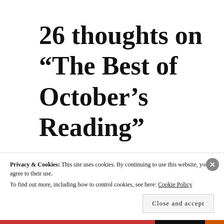26 thoughts on “The Best of October’s Reading”
Privacy & Cookies: This site uses cookies. By continuing to use this website, you agree to their use.
To find out more, including how to control cookies, see here: Cookie Policy
Close and accept